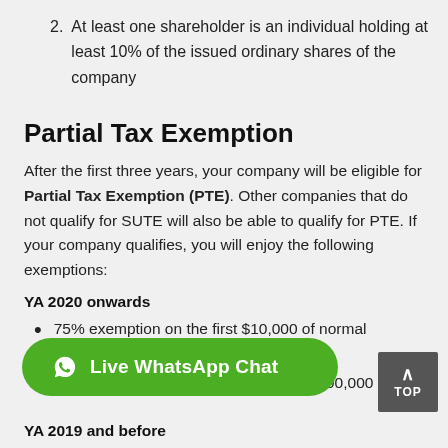2. At least one shareholder is an individual holding at least 10% of the issued ordinary shares of the company
Partial Tax Exemption
After the first three years, your company will be eligible for Partial Tax Exemption (PTE). Other companies that do not qualify for SUTE will also be able to qualify for PTE. If your company qualifies, you will enjoy the following exemptions:
YA 2020 onwards
75% exemption on the first $10,000 of normal chargeable income; and
A further 50% exemption on the next $190,000 of normal
YA 2019 and before